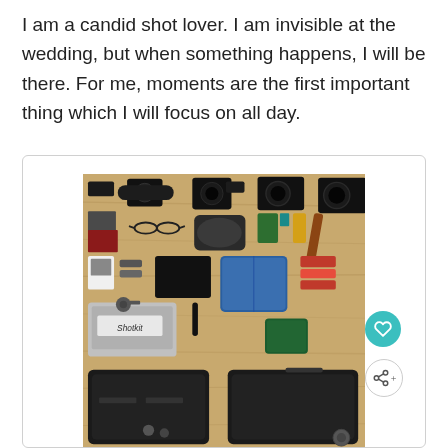I am a candid shot lover. I am invisible at the wedding, but when something happens, I will be there. For me, moments are the first important thing which I will focus on all day.
[Figure (photo): Flat lay knolling photo of a photographer's gear on a wooden table, showing multiple cameras, lenses, camera bags, laptop labeled 'Shotkit', snacks, accessories, and straps, arranged neatly. Two black camera bags at the bottom.]